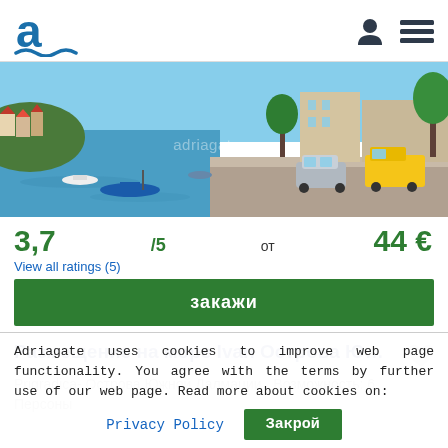Adriagate logo, user icon, menu icon
[Figure (photo): Coastal Mediterranean town with blue sea, moored boats, waterfront promenade, cars, and a yellow van. Adriagate.com watermark visible.]
3,7/5   от 44 €
View all ratings (5)
закажи
Размещение на море Ivan Острова Ю…
Prigradica- Острова Южной Далмации  Возможность: 6 Персоны
Adriagate uses cookies to improve web page functionality. You agree with the terms by further use of our web page. Read more about cookies on:
Privacy Policy   Закрой